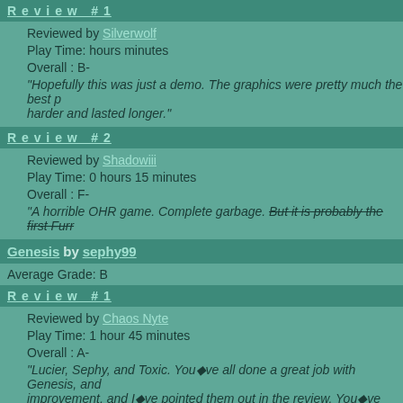Review #1
Reviewed by Silverwolf
Play Time: hours minutes
Overall : B-
"Hopefully this was just a demo. The graphics were pretty much the best p harder and lasted longer."
Review #2
Reviewed by Shadowiii
Play Time: 0 hours 15 minutes
Overall : F-
"A horrible OHR game. Complete garbage. But it is probably the first Furr
Genesis by sephy99
Average Grade: B
Review #1
Reviewed by Chaos Nyte
Play Time: 1 hour 45 minutes
Overall : A-
"Lucier, Sephy, and Toxic. You've all done a great job with Genesis, and improvement, and I've pointed them out in the review. You've come fa next demo, so don't slack off and never release it, like so many other au "
Review #2
Reviewed by Uncommon
Play Time: 2 hours minutes